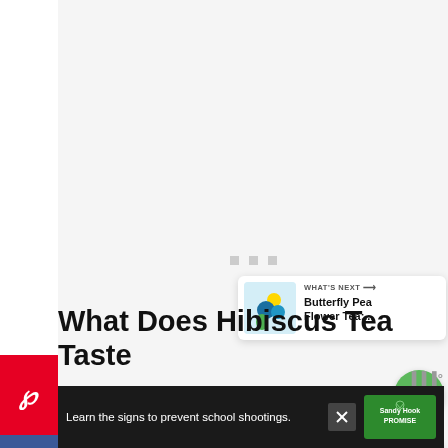[Figure (screenshot): Large white/light gray loading image area with three small gray loading dots centered in the middle]
[Figure (screenshot): Pinterest share button (red background, white P icon) on the left side]
[Figure (screenshot): Facebook share button (blue background, white f icon) on the left side]
[Figure (screenshot): Green circle heart/save button on the right side]
[Figure (screenshot): White circle share button on the right side]
[Figure (screenshot): What's Next card showing Butterfly Pea Flower Tea thumbnail and text]
What Does Hibiscus Tea Taste
[Figure (screenshot): Ad banner with dark background: Learn the signs to prevent school shootings. Sandy Hook Promise logo. Close button X.]